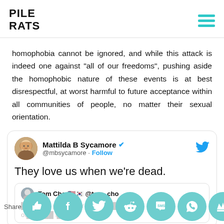PILE RATS
homophobia cannot be ignored, and while this attack is indeed one against "all of our freedoms", pushing aside the homophobic nature of these events is at best disrespectful, at worst harmful to future acceptance within all communities of people, no matter their sexual orientation.
[Figure (screenshot): Embedded tweet from @mbsycamore (Mattilda B Sycamore, verified) with text 'They love us when we're dead.' quoting a reply from Tom Cho @tom_cho partially visible.]
Share [social share buttons: thumbs up, Facebook, Twitter, Reddit, SMS, WhatsApp, crown]